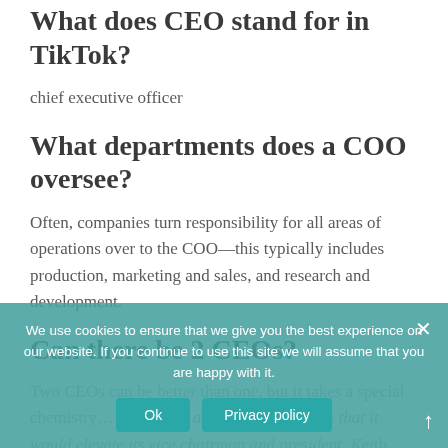What does CEO stand for in TikTok?
chief executive officer
What departments does a COO oversee?
Often, companies turn responsibility for all areas of operations over to the COO—this typically includes production, marketing and sales, and research and development.
Can there be 2 CEOs?
Two CEOs can be better than one, but it takes a... Salesforce announced last week that it would elevate its vice chairman and president, Keith Block, to co-CEO...
We use cookies to ensure that we give you the best experience on our website. If you continue to use this site we will assume that you are happy with it.